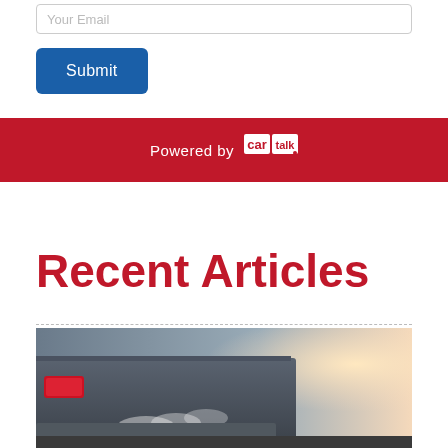Your Email
Submit
Powered by Car Talk
Recent Articles
[Figure (photo): Close-up of the rear of a car with a red tail light, exhaust smoke visible, backlit by bright sunlight]